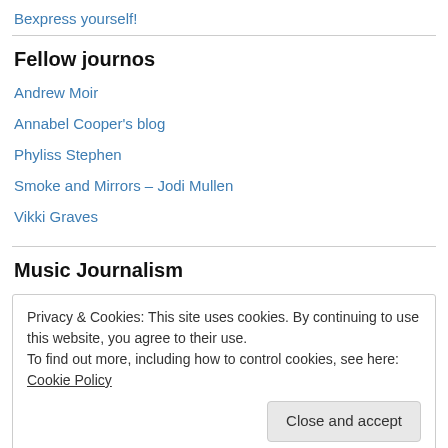Bexpress yourself!
Fellow journos
Andrew Moir
Annabel Cooper's blog
Phyliss Stephen
Smoke and Mirrors – Jodi Mullen
Vikki Graves
Music Journalism
Privacy & Cookies: This site uses cookies. By continuing to use this website, you agree to their use.
To find out more, including how to control cookies, see here: Cookie Policy
Close and accept